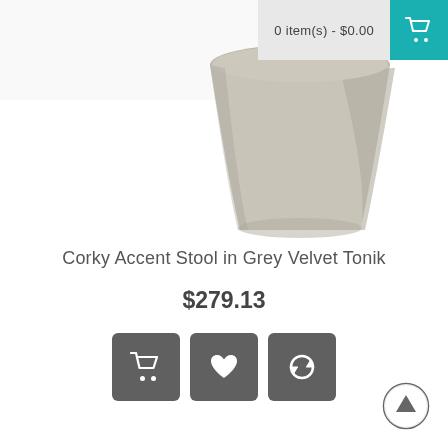[Figure (photo): Partial view of a Corky Accent Stool in grey velvet, showing the cone-shaped base against a white background]
0 item(s) - $0.00
Corky Accent Stool in Grey Velvet Tonik
$279.13
[Figure (other): Three action buttons: add to cart (shopping cart icon), add to wishlist (heart icon), compare (refresh/compare icon)]
[Figure (other): Back to top circular button with upward arrow]